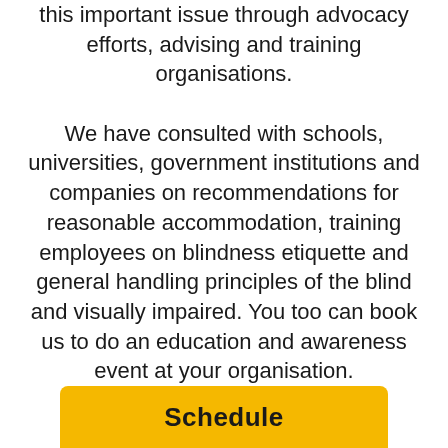this important issue through advocacy efforts, advising and training organisations.

We have consulted with schools, universities, government institutions and companies on recommendations for reasonable accommodation, training employees on blindness etiquette and general handling principles of the blind and visually impaired. You too can book us to do an education and awareness event at your organisation.
Schedule